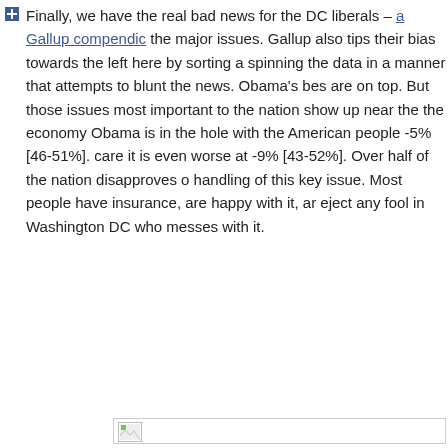Finally, we have the real bad news for the DC liberals – a Gallup compendic [link] the major issues. Gallup also tips their bias towards the left here by sorting a spinning the data in a manner that attempts to blunt the news. Obama's bes are on top. But those issues most important to the nation show up near the the economy Obama is in the hole with the American people -5% [46-51%]. care it is even worse at -9% [43-52%]. Over half of the nation disapproves o handling of this key issue. Most people have insurance, are happy with it, ar eject any fool in Washington DC who messes with it.
[Figure (photo): Broken/missing image placeholder (white rectangle with broken image icon in top-left corner)]